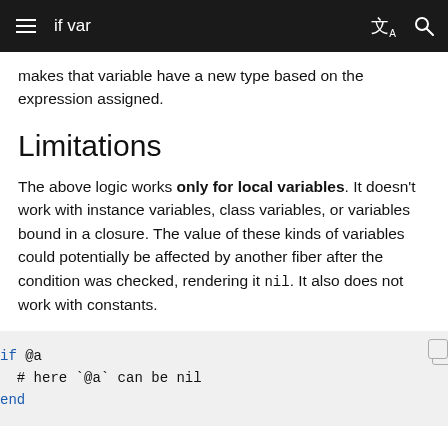if var
makes that variable have a new type based on the expression assigned.
Limitations
The above logic works only for local variables. It doesn't work with instance variables, class variables, or variables bound in a closure. The value of these kinds of variables could potentially be affected by another fiber after the condition was checked, rendering it nil. It also does not work with constants.
if @a
  # here `@a` can be nil
end